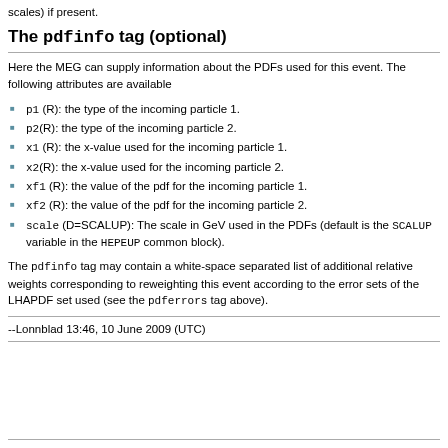scales) if present.
The pdfinfo tag (optional)
Here the MEG can supply information about the PDFs used for this event. The following attributes are available
p1 (R): the type of the incoming particle 1.
p2(R): the type of the incoming particle 2.
x1 (R): the x-value used for the incoming particle 1.
x2(R): the x-value used for the incoming particle 2.
xf1 (R): the value of the pdf for the incoming particle 1.
xf2 (R): the value of the pdf for the incoming particle 2.
scale (D=SCALUP): The scale in GeV used in the PDFs (default is the SCALUP variable in the HEPEUP common block).
The pdfinfo tag may contain a white-space separated list of additional relative weights corresponding to reweighting this event according to the error sets of the LHAPDF set used (see the pdferrors tag above).
--Lonnblad 13:46, 10 June 2009 (UTC)